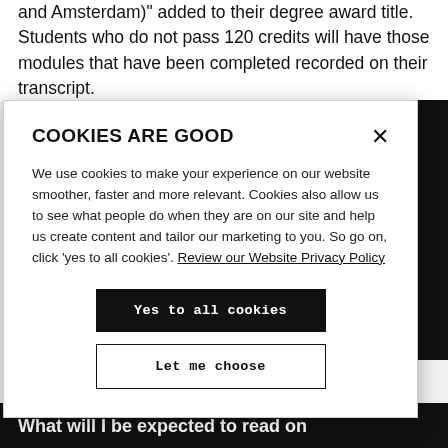and Amsterdam)" added to their degree award title. Students who do not pass 120 credits will have those modules that have been completed recorded on their transcript.
[Figure (screenshot): Cookie consent modal dialog with title 'COOKIES ARE GOOD', body text explaining cookie use, a link to 'Review our Website Privacy Policy', a black 'Yes to all cookies' button, and a white 'Let me choose' button with black border, plus a close X button.]
What will I be expected to read on